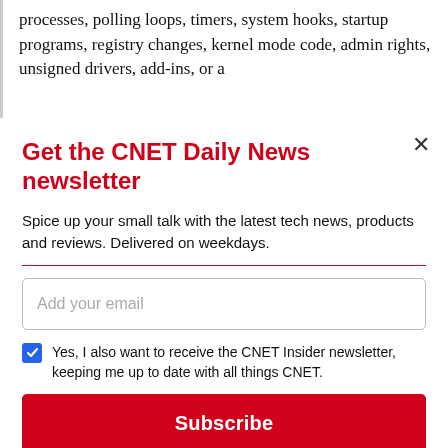processes, polling loops, timers, system hooks, startup programs, registry changes, kernel mode code, admin rights, unsigned drivers, add-ins, or a
Get the CNET Daily News newsletter
Spice up your small talk with the latest tech news, products and reviews. Delivered on weekdays.
Add your email
Yes, I also want to receive the CNET Insider newsletter, keeping me up to date with all things CNET.
Subscribe
By signing up, you agree to our Terms of Use and acknowledge the data practices in our Privacy Policy. You may unsubscribe at any time.